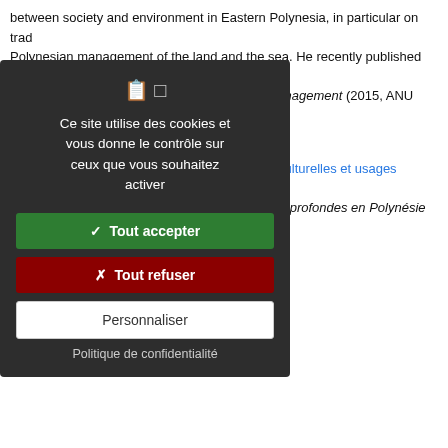between society and environment in Eastern Polynesia, in particular on traditional Polynesian management of the land and the sea. He recently published Rahui: Pacific Experiences of Polynesia. Legal Pluralism in Environmental Management (2015, ANU Press).
Du même auteur
I-1. Représentations polynésiennes, pratiques culturelles et usages sociaux de la ressource et de son environnement in Les ressources minérales profondes en Polynésie française / …tions, 2016
…elements, intérêts, attentes in Les ress… Deep-sea mineral resources in French…
…ales in Les ressources minérales prof… ces in French Polynesia, IRD Éditions…
…tional finance. He is a professor a… JEC Business School, the founder a… Partners, and a participant in seve… rks on the capacity of countries to… changes. His research focuses par… ations into national, regional and… mpacts of ocean acidification. He… …in Water Volume f (fi), 201…
[Figure (screenshot): Cookie consent modal dialog with dark background. Shows icons for cookie settings, message 'Ce site utilise des cookies et vous donne le contrôle sur ceux que vous souhaitez activer', green 'Tout accepter' button, red 'Tout refuser' button, white 'Personnaliser' button, and 'Politique de confidentialité' link.]